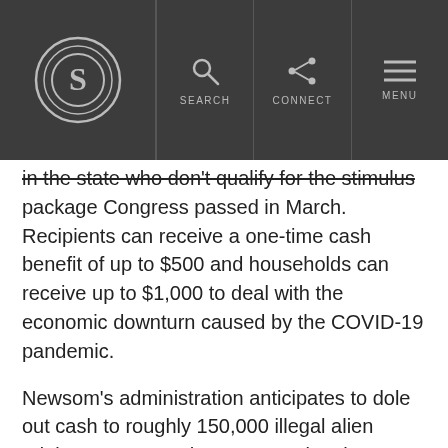S | SEARCH | CONNECT | MENU
in the state who don't qualify for the stimulus package Congress passed in March. Recipients can receive a one-time cash benefit of up to $500 and households can receive up to $1,000 to deal with the economic downturn caused by the COVID-19 pandemic.
Newsom's administration anticipates to dole out cash to roughly 150,000 illegal alien adults. Newsom, when announcing the program, said 10% of California's workforce is undocumented.
Judicial Watch on Tuesday argued that the governor is overstepping his authority in trying to give taxpayer funds to illegal aliens, and took particular umbrage